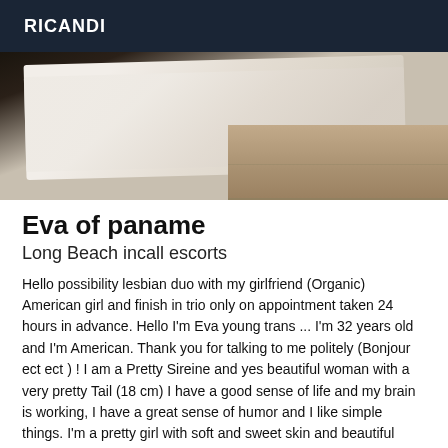RICANDI
[Figure (photo): A bed with white sheets and a tiled floor visible in the corner]
Eva of paname
Long Beach incall escorts
Hello possibility lesbian duo with my girlfriend (Organic) American girl and finish in trio only on appointment taken 24 hours in advance. Hello I'm Eva young trans ... I'm 32 years old and I'm American. Thank you for talking to me politely (Bonjour ect ect ) ! I am a Pretty Sireine and yes beautiful woman with a very pretty Tail (18 cm) I have a good sense of life and my brain is working, I have a great sense of humor and I like simple things. I'm a pretty girl with soft and sweet skin and beautiful breasts. I am active and passive (versatile) very sweet and